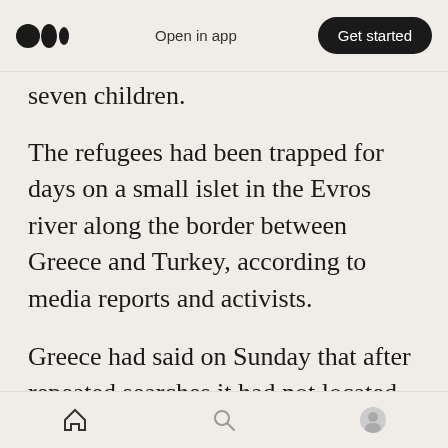Open in app | Get started
seven children.
The refugees had been trapped for days on a small islet in the Evros river along the border between Greece and Turkey, according to media reports and activists.
Greece had said on Sunday that after repeated searches it had not located any people on the islet that was outside Greek territory and had alerted Turkish authorities over the issue. The Turkish Interior Ministry declined comment.
On Monday, Greek police said the refugees were
Home | Search | Profile